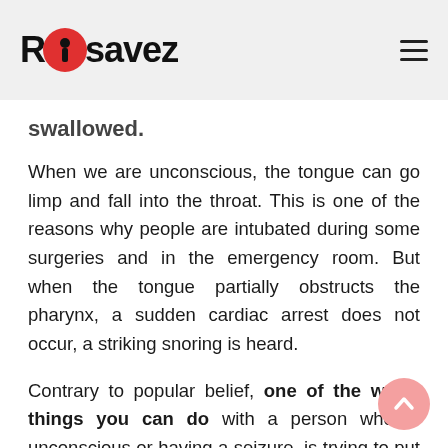RrackiSavez
swallowed.
When we are unconscious, the tongue can go limp and fall into the throat. This is one of the reasons why people are intubated during some surgeries and in the emergency room. But when the tongue partially obstructs the pharynx, a sudden cardiac arrest does not occur, a striking snoring is heard.
Contrary to popular belief, one of the worst things you can do with a person who is unconscious or having a seizure, is trying to put something in their mouth or stick out their tongue. It is very likely that we will end up causing a wound or with a